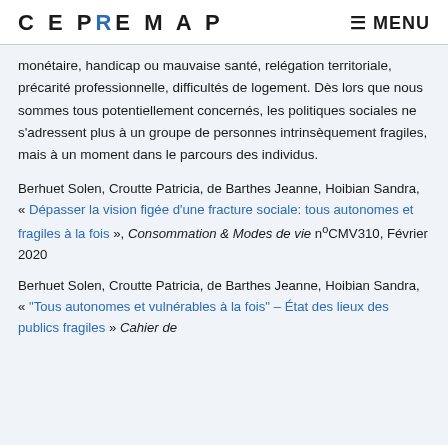CEPREMAP | MENU
monétaire, handicap ou mauvaise santé, relégation territoriale, précarité professionnelle, difficultés de logement. Dès lors que nous sommes tous potentiellement concernés, les politiques sociales ne s'adressent plus à un groupe de personnes intrinsèquement fragiles, mais à un moment dans le parcours des individus.
Berhuet Solen, Croutte Patricia, de Barthes Jeanne, Hoibian Sandra, « Dépasser la vision figée d'une fracture sociale: tous autonomes et fragiles à la fois », Consommation & Modes de vie n°CMV310, Février 2020
Berhuet Solen, Croutte Patricia, de Barthes Jeanne, Hoibian Sandra, « "Tous autonomes et vulnérables à la fois" – État des lieux des publics fragiles » Cahier de